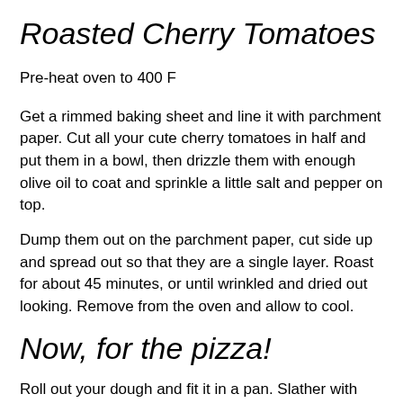Roasted Cherry Tomatoes
Pre-heat oven to 400 F
Get a rimmed baking sheet and line it with parchment paper. Cut all your cute cherry tomatoes in half and put them in a bowl, then drizzle them with enough olive oil to coat and sprinkle a little salt and pepper on top.
Dump them out on the parchment paper, cut side up and spread out so that they are a single layer. Roast for about 45 minutes, or until wrinkled and dried out looking. Remove from the oven and allow to cool.
Now, for the pizza!
Roll out your dough and fit it in a pan. Slather with sauce. Cover with some mozzarella cheese, then dot with roasted cherry tomatoes, some thinly sliced bell pepper rings, thinly sliced fresh mushrooms, and thinly sliced pieces of fresh